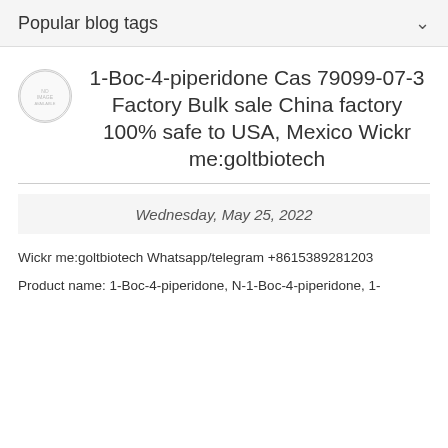Popular blog tags
1-Boc-4-piperidone Cas 79099-07-3 Factory Bulk sale China factory 100% safe to USA, Mexico Wickr me:goltbiotech
Wednesday, May 25, 2022
Wickr me:goltbiotech Whatsapp/telegram +8615389281203
Product name: 1-Boc-4-piperidone, N-1-Boc-4-piperidone, 1-